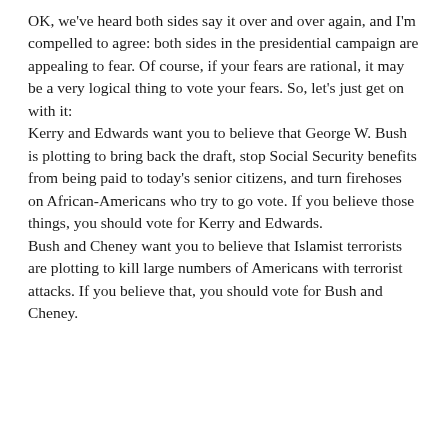OK, we've heard both sides say it over and over again, and I'm compelled to agree: both sides in the presidential campaign are appealing to fear. Of course, if your fears are rational, it may be a very logical thing to vote your fears. So, let's just get on with it: Kerry and Edwards want you to believe that George W. Bush is plotting to bring back the draft, stop Social Security benefits from being paid to today's senior citizens, and turn firehoses on African-Americans who try to go vote. If you believe those things, you should vote for Kerry and Edwards. Bush and Cheney want you to believe that Islamist terrorists are plotting to kill large numbers of Americans with terrorist attacks. If you believe that, you should vote for Bush and Cheney.